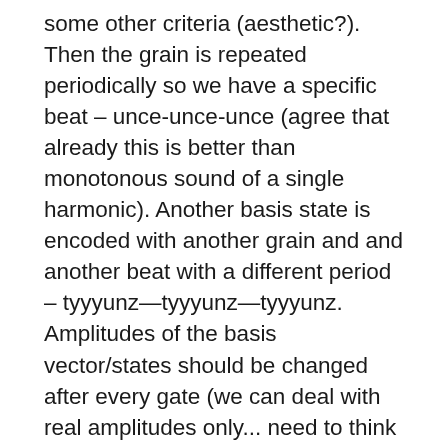some other criteria (aesthetic?). Then the grain is repeated periodically so we have a specific beat – unce-unce-unce (agree that already this is better than monotonous sound of a single harmonic). Another basis state is encoded with another grain and and another beat with a different period – tyyyunz—tyyyunz—tyyyunz. Amplitudes of the basis vector/states should be changed after every gate (we can deal with real amplitudes only... need to think about this more) but in a continuous manner. This again can be done with the granular synthesis toolbox.
The wish is that all this results in a techno-like piece for a randomly generated Q-...